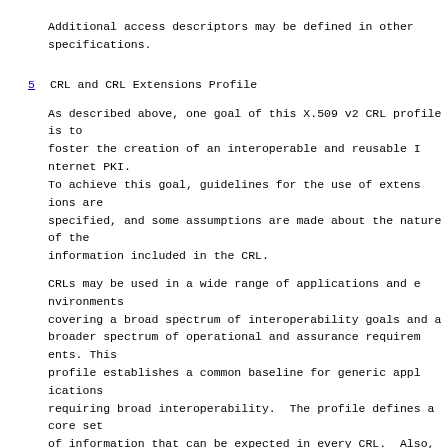Additional access descriptors may be defined in other specifications.
5   CRL and CRL Extensions Profile
As described above, one goal of this X.509 v2 CRL profile is to foster the creation of an interoperable and reusable Internet PKI. To achieve this goal, guidelines for the use of extensions are specified, and some assumptions are made about the nature of the information included in the CRL.
CRLs may be used in a wide range of applications and environments covering a broad spectrum of interoperability goals and a broader spectrum of operational and assurance requirements. This profile establishes a common baseline for generic applications requiring broad interoperability. The profile defines a core set of information that can be expected in every CRL. Also, the profile defines common locations within the CRL for frequently used attributes as well as common representations for these attributes.
This profile does not define any private Internet CRL extensions or CRL entry extensions.
Environments with additional or special purpose requirements may build on this profile or may replace it.
Conforming CAs are not required to issue CRLs if other certificate status mechanisms are provided. Conforming CAs that issue CRLs MUST issue version 2 CRLs, and CAs MUST include